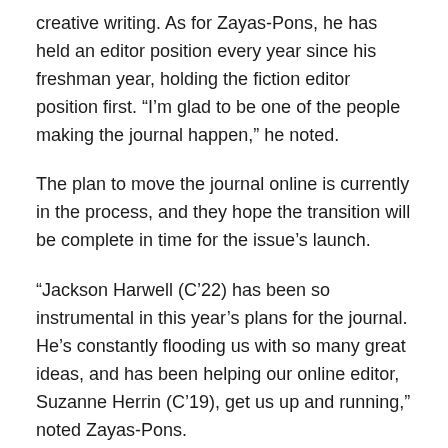creative writing. As for Zayas-Pons, he has held an editor position every year since his freshman year, holding the fiction editor position first. “I’m glad to be one of the people making the journal happen,” he noted.
The plan to move the journal online is currently in the process, and they hope the transition will be complete in time for the issue’s launch.
“Jackson Harwell (C’22) has been so instrumental in this year’s plans for the journal. He’s constantly flooding us with so many great ideas, and has been helping our online editor, Suzanne Herrin (C’19), get us up and running,” noted Zayas-Pons.